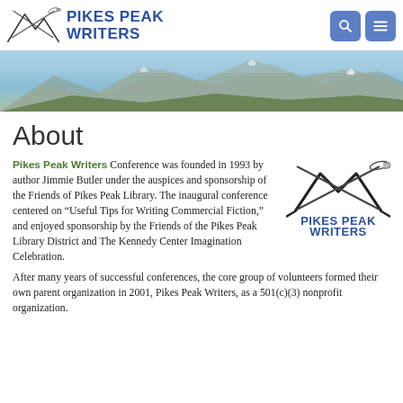Pikes Peak Writers
[Figure (photo): Mountain landscape banner photo showing snow-capped peaks under blue sky]
About
[Figure (logo): Pikes Peak Writers logo with mountain/pen graphic and text PIKES PEAK WRITERS]
Pikes Peak Writers Conference was founded in 1993 by author Jimmie Butler under the auspices and sponsorship of the Friends of Pikes Peak Library. The inaugural conference centered on “Useful Tips for Writing Commercial Fiction,” and enjoyed sponsorship by the Friends of the Pikes Peak Library District and The Kennedy Center Imagination Celebration.
After many years of successful conferences, the core group of volunteers formed their own parent organization in 2001, Pikes Peak Writers, as a 501(c)(3) nonprofit organization.